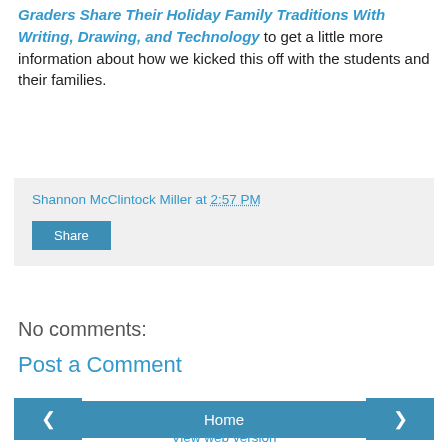Graders Share Their Holiday Family Traditions With Writing, Drawing, and Technology to get a little more information about how we kicked this off with the students and their families.
Shannon McClintock Miller at 2:57 PM
Share
No comments:
Post a Comment
Home
View web version
Shannon McClintock Miller
Mom ♥ Wife. District Teacher Librarian and Director of Innovation of Instructional Technology at Van